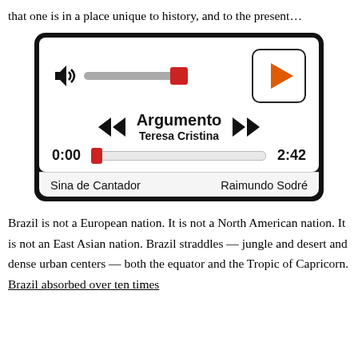that one is in a place unique to history, and to the present…
[Figure (screenshot): Audio player widget showing track 'Argumento' by Teresa Cristina, time 0:00 / 2:42, with volume slider, play button, previous/next track buttons, and bottom bar showing 'Sina de Cantador' and 'Raimundo Sodré']
Brazil is not a European nation. It is not a North American nation. It is not an East Asian nation. Brazil straddles — jungle and desert and dense urban centers — both the equator and the Tropic of Capricorn. Brazil absorbed over ten times the number of enslaved Africans as the United States of